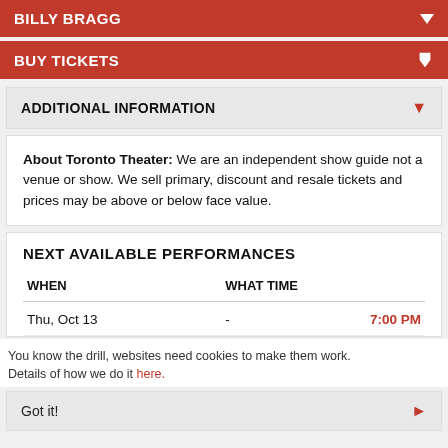BILLY BRAGG
BUY TICKETS
ADDITIONAL INFORMATION
About Toronto Theater: We are an independent show guide not a venue or show. We sell primary, discount and resale tickets and prices may be above or below face value.
NEXT AVAILABLE PERFORMANCES
| WHEN | WHAT TIME |
| --- | --- |
| Thu, Oct 13 | - 7:00 PM |
You know the drill, websites need cookies to make them work. Details of how we do it here.
Got it!